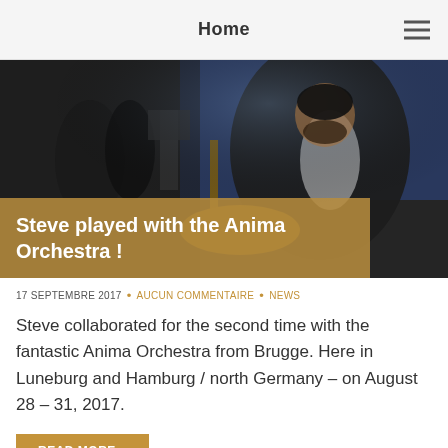Home
[Figure (photo): Musician playing banjo in formal attire with an orchestra in the background on a concert stage, with text overlay 'Steve played with the Anima Orchestra !']
17 SEPTEMBRE 2017 • AUCUN COMMENTAIRE • NEWS
Steve collaborated for the second time with the fantastic Anima Orchestra from Brugge. Here in Luneburg and Hamburg / north Germany – on August 28 – 31, 2017.
READ MORE »